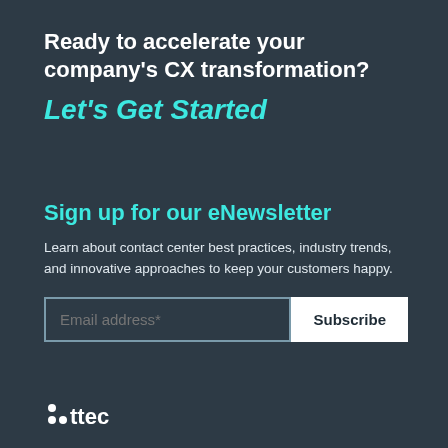Ready to accelerate your company's CX transformation?
Let's Get Started
Sign up for our eNewsletter
Learn about contact center best practices, industry trends, and innovative approaches to keep your customers happy.
[Figure (other): Email address input field with placeholder 'Email address*' and a Subscribe button]
[Figure (logo): TTEC logo in white at bottom left]